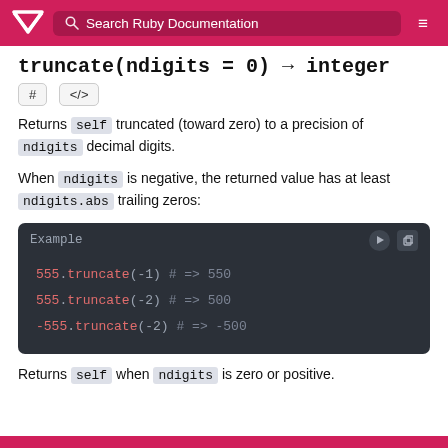Search Ruby Documentation
truncate(ndigits = 0) → integer
Returns self truncated (toward zero) to a precision of ndigits decimal digits.
When ndigits is negative, the returned value has at least ndigits.abs trailing zeros:
[Figure (screenshot): Code example block showing: 555.truncate(-1) # => 550 / 555.truncate(-2) # => 500 / -555.truncate(-2) # => -500]
Returns self when ndigits is zero or positive.